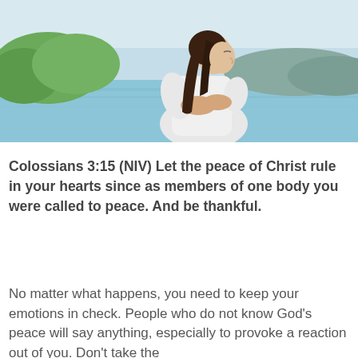[Figure (photo): A woman with long dark hair wearing a white outfit sits outdoors near a lake or body of water, looking peacefully to the side. Green trees and a blue sky are visible in the background.]
Colossians 3:15 (NIV) Let the peace of Christ rule in your hearts since as members of one body you were called to peace. And be thankful.
No matter what happens, you need to keep your emotions in check. People who do not know God's peace will say anything, especially to provoke a reaction out of you. Don't take the